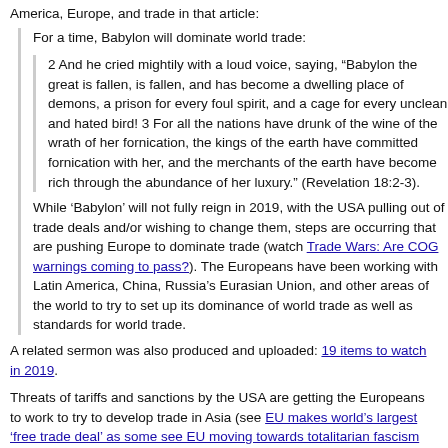America, Europe, and trade in that article:
For a time, Babylon will dominate world trade:
2 And he cried mightily with a loud voice, saying, “Babylon the great is fallen, is fallen, and has become a dwelling place of demons, a prison for every foul spirit, and a cage for every unclean and hated bird! 3 For all the nations have drunk of the wine of the wrath of her fornication, the kings of the earth have committed fornication with her, and the merchants of the earth have become rich through the abundance of her luxury.” (Revelation 18:2-3).
While ‘Babylon’ will not fully reign in 2019, with the USA pulling out of trade deals and/or wishing to change them, steps are occurring that are pushing Europe to dominate trade (watch Trade Wars: Are COG warnings coming to pass?). The Europeans have been working with Latin America, China, Russia’s Eurasian Union, and other areas of the world to try to set up its dominance of world trade as well as standards for world trade.
A related sermon was also produced and uploaded: 19 items to watch in 2019.
Threats of tariffs and sanctions by the USA are getting the Europeans to work to try to develop trade in Asia (see EU makes world’s largest ‘free trade deal’ as some see EU moving towards totalitarian fascism and watch China’s Silk Road and Babylon the Great) and Latin America (see EU